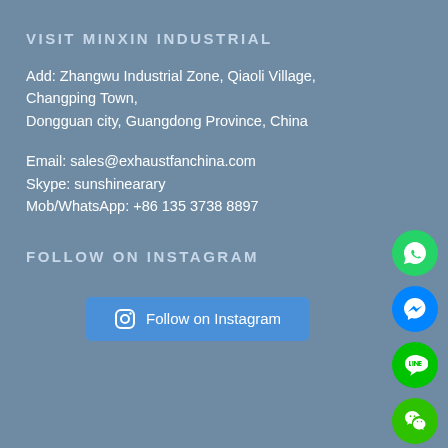VISIT MINXIN INDUSTRIAL
Add: Zhangwu Industrial Zone, Qiaoli Village, Changping Town, Dongguan city, Guangdong Province, China
Email: sales@exhaustfanchina.com
Skype: sunshinearary
Mob/WhatsApp: +86 135 3738 8897
FOLLOW ON INSTAGRAM
[Figure (infographic): Follow on Instagram button with Instagram logo icon, blue rounded rectangle button]
[Figure (infographic): Social media icon buttons on right side: WhatsApp (green), Messenger (blue), LINE (green), WeChat (green), Skype (blue), Email (red), Close (purple)]